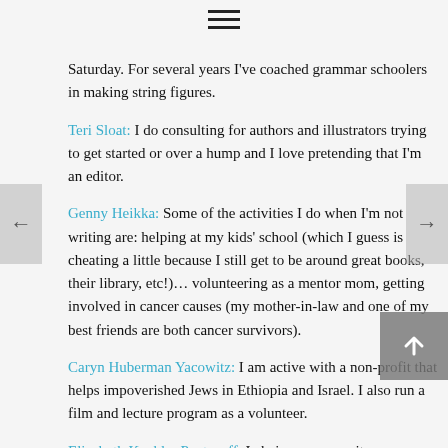[Figure (other): Hamburger/menu icon with three horizontal lines]
Saturday. For several years I've coached grammar schoolers in making string figures.
Teri Sloat: I do consulting for authors and illustrators trying to get started or over a hump and I love pretending that I'm an editor.
Genny Heikka: Some of the activities I do when I'm not writing are: helping at my kids' school (which I guess is cheating a little because I still get to be around great books, their library, etc!)… volunteering as a mentor mom, getting involved in cancer causes (my mother-in-law and one of my best friends are both cancer survivors).
Caryn Huberman Yacowitz: I am active with a non-profit that helps impoverished Jews in Ethiopia and Israel. I also run a film and lecture program as a volunteer.
Elizabeth Koehler Pentacoff: I chair a young writer program